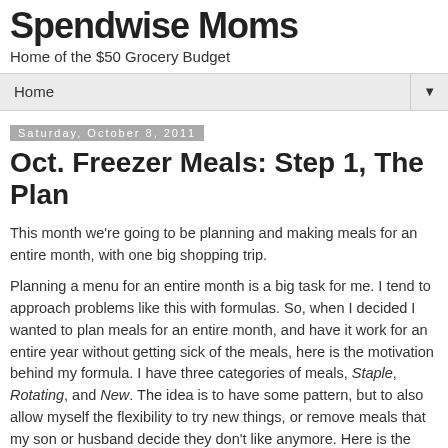Spendwise Moms
Home of the $50 Grocery Budget
Home
Saturday, October 8, 2011
Oct. Freezer Meals: Step 1, The Plan
This month we're going to be planning and making meals for an entire month, with one big shopping trip.
Planning a menu for an entire month is a big task for me. I tend to approach problems like this with formulas. So, when I decided I wanted to plan meals for an entire month, and have it work for an entire year without getting sick of the meals, here is the motivation behind my formula. I have three categories of meals, Staple, Rotating, and New. The idea is to have some pattern, but to also allow myself the flexibility to try new things, or remove meals that my son or husband decide they don't like anymore. Here is the breakdown: